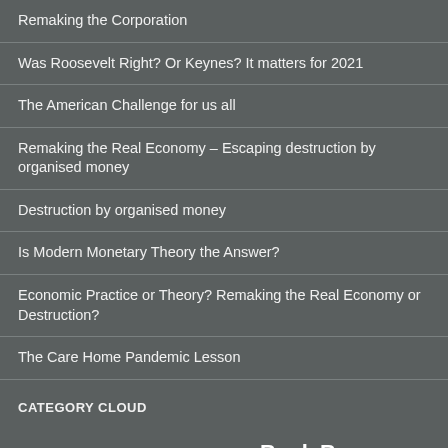Remaking the Corporation
Was Roosevelt Right? Or Keynes? It matters for 2021
The American Challenge for us all
Remaking the Real Economy – Escaping destruction by organised money
Destruction by organised money
Is Modern Monetary Theory the Answer?
Economic Practice or Theory? Remaking the Real Economy or Destruction?
The Care Home Pandemic Lesson
CATEGORY CLOUD
Accounting profession  Audit profession  Bank Bonuses